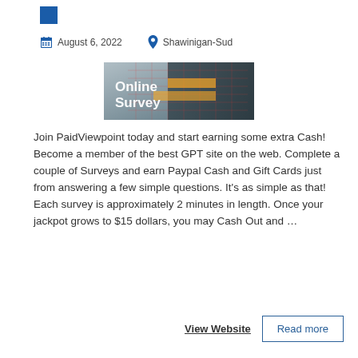[Figure (other): Small blue square icon in top-left area]
August 6, 2022   Shawinigan-Sud
[Figure (photo): Photo of a man in a suit pressing a digital screen with 'Online Survey' text overlay]
Join PaidViewpoint today and start earning some extra Cash! Become a member of the best GPT site on the web. Complete a couple of Surveys and earn Paypal Cash and Gift Cards just from answering a few simple questions. It's as simple as that! Each survey is approximately 2 minutes in length. Once your jackpot grows to $15 dollars, you may Cash Out and …
View Website
Read more